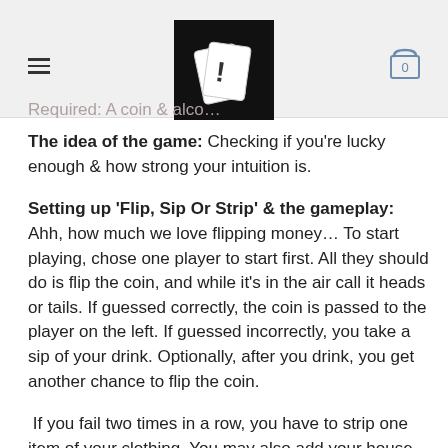Required: A coin & alco...
The idea of the game: Checking if you're lucky enough & how strong your intuition is.
Setting up 'Flip, Sip Or Strip' & the gameplay: Ahh, how much we love flipping money… To start playing, chose one player to start first. All they should do is flip the coin, and while it's in the air call it heads or tails. If guessed correctly, the coin is passed to the player on the left. If guessed incorrectly, you take a sip of your drink. Optionally, after you drink, you get another chance to flip the coin.
If you fail two times in a row, you have to strip one item of your clothing. You may also add your house rules, such as if someone guesses correctly two or more times in a row, they can make someone else in the room drink.